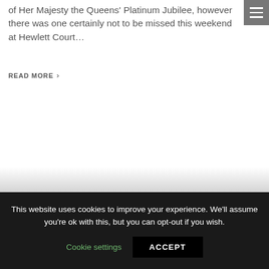of Her Majesty the Queens' Platinum Jubilee, however there was one certainly not to be missed this weekend at Hewlett Court…
READ MORE ›
This website uses cookies to improve your experience. We'll assume you're ok with this, but you can opt-out if you wish.
Cookie settings   ACCEPT